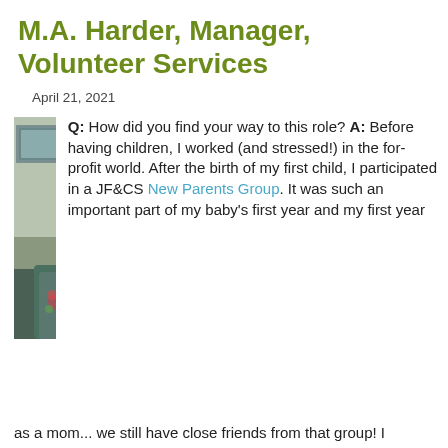M.A. Harder, Manager, Volunteer Services
April 21, 2021
[Figure (photo): Headshot of M.A. Harder, a woman with short brown hair and glasses, wearing a floral embroidered teal cardigan, smiling at the camera. Background shows a room with framed art on the wall.]
Q: How did you find your way to this role? A: Before having children, I worked (and stressed!) in the for-profit world. After the birth of my first child, I participated in a JF&CS New Parents Group. It was such an important part of my baby's first year and my first year as a mom... we still have close friends from that group! I
as a mom... we still have close friends from that group! I